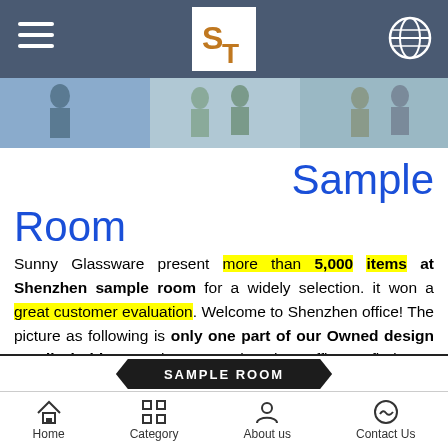Sunny Glassware mobile website header with logo, menu, and globe icon
[Figure (photo): Photo strip showing people in a showroom/office environment]
Sample Room
Sunny Glassware present more than 5,000 items at Shenzhen sample room for a widely selection. it won a great customer evaluation. Welcome to Shenzhen office! The picture as following is only one part of our Owned design candle holders, Welcome to Shenzhen office to find your favorites, it will bring you a big surprise becasue it's hard to find another supplier like this in China.
SAMPLE ROOM | Home | Category | About us | Contact Us